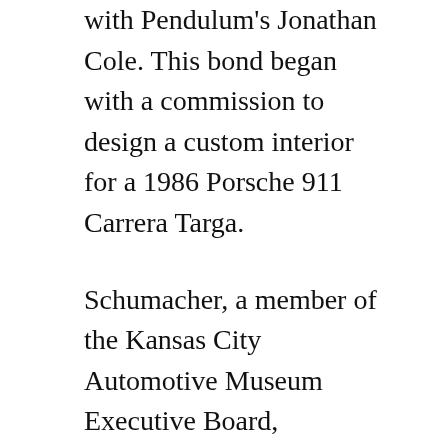with Pendulum's Jonathan Cole. This bond began with a commission to design a custom interior for a 1986 Porsche 911 Carrera Targa.
Schumacher, a member of the Kansas City Automotive Museum Executive Board, nominated Cole for a board seat and they now serve on that board together as the museum prepares to embark on a capital campaign for the design and construction of a brand new home in downtown Kansas City.  The Schumachers were kind enough to donate this framed and autographed Sports Legend Marcus Allen jersey [including a newspaper from this career era] for the Big Brothers Big Sisters Most Wanted silent auction.